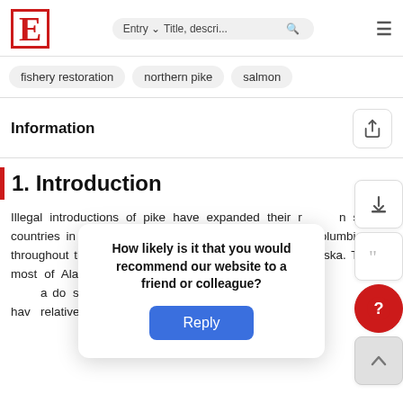E | Entry ∨ | Title, descri... 🔍 ≡
fishery restoration
northern pike
salmon
Information
1. Introduction
Illegal introductions of pike have expanded their range in several countries in Europe and Africa, southwestern British Columbia, and throughout the American west including southcentral Alaska. Though most of Alaska falls within the native range of pike, Southcentral Alaska does not have any native pike populations and consequently has relatively low-gradient habitats...
How likely is it that you would recommend our website to a friend or colleague?
Reply